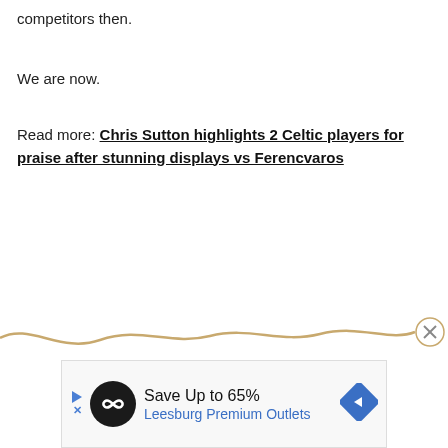competitors then.
We are now.
Read more: Chris Sutton highlights 2 Celtic players for praise after stunning displays vs Ferencvaros
[Figure (other): Decorative wavy gold/tan line across the bottom portion of the page with a circular close (X) button on the right end]
[Figure (other): Advertisement banner: Save Up to 65% Leesburg Premium Outlets with logo and navigation icon]